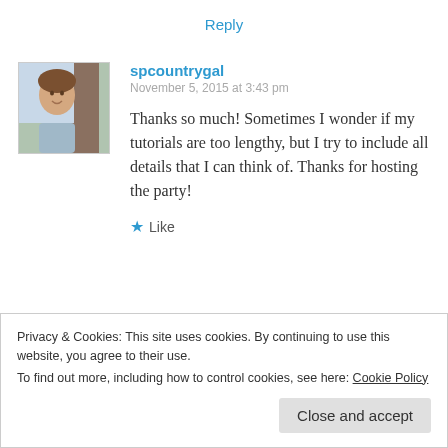Reply
[Figure (photo): Avatar photo of spcountrygal, a woman smiling outdoors near a tree]
spcountrygal
November 5, 2015 at 3:43 pm
Thanks so much! Sometimes I wonder if my tutorials are too lengthy, but I try to include all details that I can think of. Thanks for hosting the party!
★ Like
Privacy & Cookies: This site uses cookies. By continuing to use this website, you agree to their use.
To find out more, including how to control cookies, see here: Cookie Policy
Close and accept